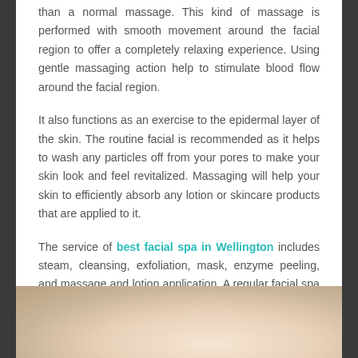than a normal massage. This kind of massage is performed with smooth movement around the facial region to offer a completely relaxing experience. Using gentle massaging action help to stimulate blood flow around the facial region.
It also functions as an exercise to the epidermal layer of the skin. The routine facial is recommended as it helps to wash any particles off from your pores to make your skin look and feel revitalized. Massaging will help your skin to efficiently absorb any lotion or skincare products that are applied to it.
The service of best facial spa in Wellington includes steam, cleansing, exfoliation, mask, enzyme peeling, and massage and lotion application. A regular facial spa session will keep your skin bouncy.
[Figure (photo): Partial photo showing what appears to be spa/skincare related imagery, visible at the bottom of the page, cropped.]